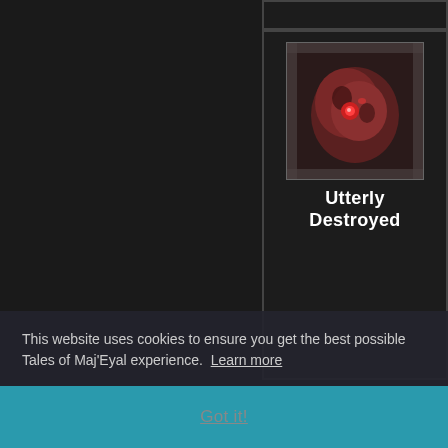[Figure (screenshot): Game UI screenshot showing a dark-themed game interface with card list panel on the right side. Cards visible include 'Utterly Destroyed' (showing a dark reddish destroyed creature icon), 'Guiding Hand' (showing a green/purple magical hand icon), and 'Shasshhiy'Kaish' (showing a red flower/jewel icon). A cookie consent banner overlaps the lower portion of the screen.]
Utterly Destroyed
Guiding Hand
Shasshhiy'Kaish
This website uses cookies to ensure you get the best possible Tales of Maj'Eyal experience.  Learn more
Got it!